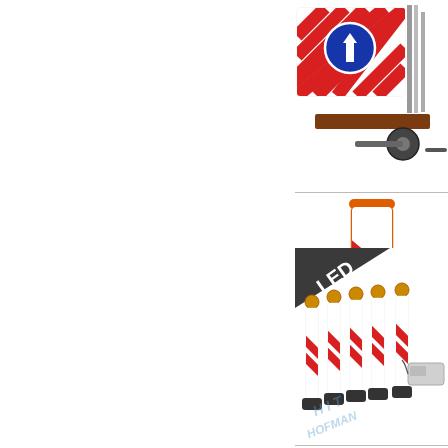[Figure (illustration): Traffic sign trailer with blue mandatory direction sign (straight ahead arrow) on red/white chevron board, mounted on a wheeled trailer. Partial view cropped at left edge.]
[Figure (illustration): Orange road delineator post with red and white diagonal reflective stripes and orange base, showing HIT HOFMAN watermark.]
[Figure (illustration): Set of 5 LED road delineator posts with red/white reflective panels and amber beacon lights on top, connected to a grey control box. LED badge in upper left corner. HIT HOFMAN watermark.]